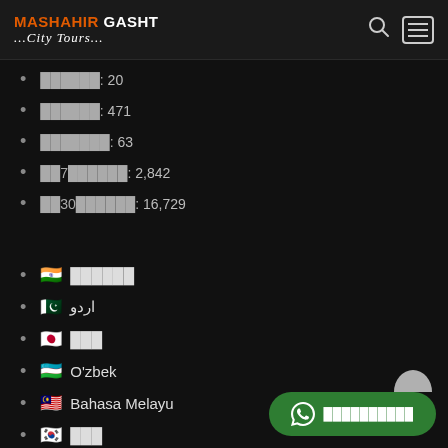MASHAHIR GASHT ...City Tours...
██████: 20
██████: 471
███████: 63
██7██████: 2,842
██30██████: 16,729
🇮🇳 ██████
🇵🇰 اردو
🇯🇵 ███
🇺🇿 O'zbek
🇲🇾 Bahasa Melayu
🇰🇷 ███
🇬🇧 English
🇸🇦 العربية
🇷🇺 Русский